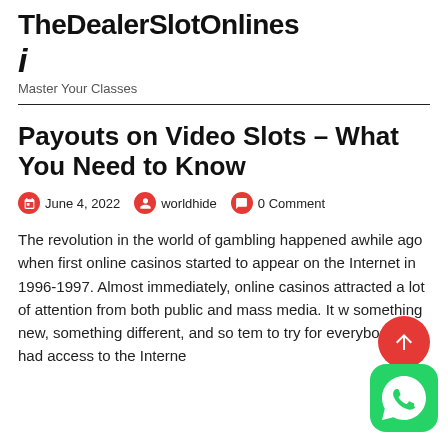TheDealerSlotOnlines
i
Master Your Classes
Payouts on Video Slots – What You Need to Know
June 4, 2022   worldhide   0 Comment
The revolution in the world of gambling happened awhile ago when first online casinos started to appear on the Internet in 1996-1997. Almost immediately, online casinos attracted a lot of attention from both public and mass media. It was something new, something different, and so tempting to try for everybody who had access to the Internet.